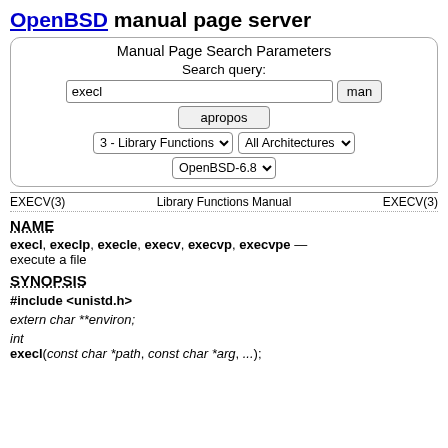OpenBSD manual page server
[Figure (other): Manual Page Search Parameters form with search query input showing 'execl', man and apropos buttons, dropdowns for section (3 - Library Functions), architectures (All Architectures), and version (OpenBSD-6.8)]
EXECV(3)    Library Functions Manual    EXECV(3)
NAME
execl, execlp, execle, execv, execvp, execvpe — execute a file
SYNOPSIS
#include <unistd.h>
extern char **environ;
int
execl(const char *path, const char *arg, ...);